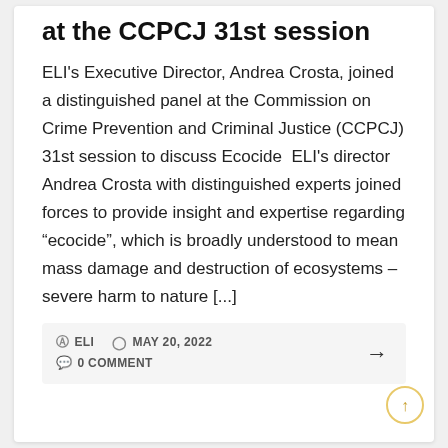at the CCPCJ 31st session
ELI's Executive Director, Andrea Crosta, joined a distinguished panel at the Commission on Crime Prevention and Criminal Justice (CCPCJ) 31st session to discuss Ecocide  ELI's director Andrea Crosta with distinguished experts joined forces to provide insight and expertise regarding “ecocide”, which is broadly understood to mean mass damage and destruction of ecosystems – severe harm to nature [...]
ELI  MAY 20, 2022  → 0 COMMENT